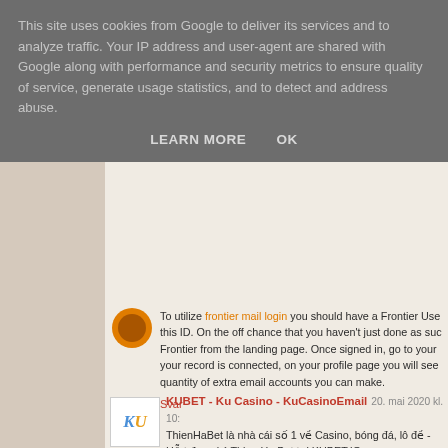This site uses cookies from Google to deliver its services and to analyze traffic. Your IP address and user-agent are shared with Google along with performance and security metrics to ensure quality of service, generate usage statistics, and to detect and address abuse.
LEARN MORE   OK
To utilize frontier mail login you should have a Frontier User this ID. On the off chance that you haven't just done as such, Frontier from the landing page. Once signed in, go to your your record is connected, on your profile page you will see quantity of extra email accounts you can make.
Svar
KUBET - Ku Casino - KuCasinoEmail  20. mai 2020 kl. 10:
ThienHaBet là nhà cái số 1 về Casino, bóng đá, lô đề - Hỗ t đang ký Thien Ha Bet tại KUBET.IO.
https://thienhabet.contently.com/
https://infogram.com/thienhabet-link-dang-ky-dang-nhap-thie